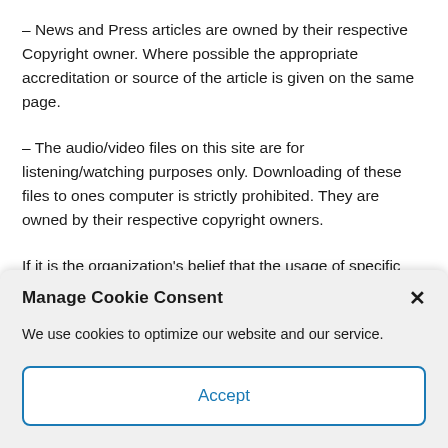– News and Press articles are owned by their respective Copyright owner. Where possible the appropriate accreditation or source of the article is given on the same page.
– The audio/video files on this site are for listening/watching purposes only. Downloading of these files to ones computer is strictly prohibited. They are owned by their respective copyright owners.
If it is the organization's belief that the usage of specific
Manage Cookie Consent
We use cookies to optimize our website and our service.
Accept